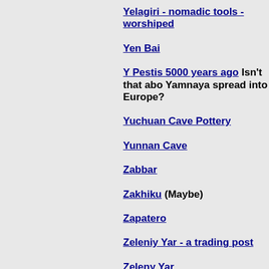Yelagiri - nomadic tools - worshiped
Yen Bai
Y Pestis 5000 years ago Isn't that abo Yamnaya spread into Europe?
Yuchuan Cave Pottery
Yunnan Cave
Zabbar
Zakhiku (Maybe)
Zapatero
Zeleniy Yar - a trading post
Zeleny Yar
Zeugma of the Black Sea